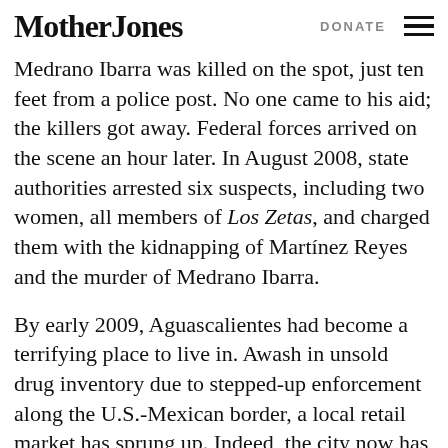Mother Jones | DONATE
Medrano Ibarra was killed on the spot, just ten feet from a police post. No one came to his aid; the killers got away. Federal forces arrived on the scene an hour later. In August 2008, state authorities arrested six suspects, including two women, all members of Los Zetas, and charged them with the kidnapping of Martínez Reyes and the murder of Medrano Ibarra.
By early 2009, Aguascalientes had become a terrifying place to live in. Awash in unsold drug inventory due to stepped-up enforcement along the U.S.-Mexican border, a local retail market has sprung up. Indeed, the city now has one of the highest rates of drug abuse among youth in all of